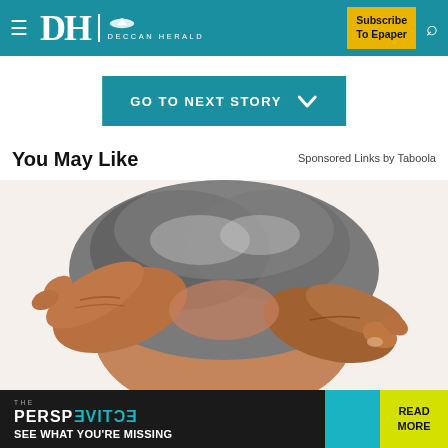Deccan Herald — Navigation bar with hamburger menu, DH Deccan Herald logo, Subscribe To Epaper button, and search icon
GO TO NEXT STORY
You May Like
Sponsored Links by Taboola
[Figure (photo): Elderly person's head with gray hair being held/touched by aged hands, viewed from behind, on white background]
[Figure (infographic): THE PERSPECTIVE advertisement banner reading 'SEE WHAT YOU’RE MISSING' with teal background section and yellow READ MORE button]